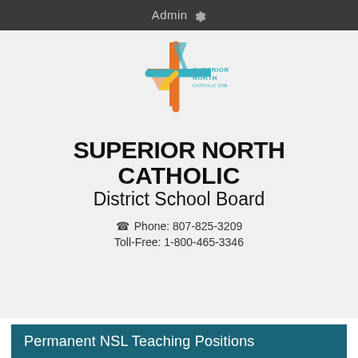Admin
[Figure (logo): Superior North Catholic DSB logo — colorful cross shape with orange, teal, yellow lines and text 'SUPERIOR NORTH CATHOLIC DSB']
SUPERIOR NORTH CATHOLIC District School Board
Phone: 807-825-3209
Toll-Free: 1-800-465-3346
Permanent NSL Teaching Positions